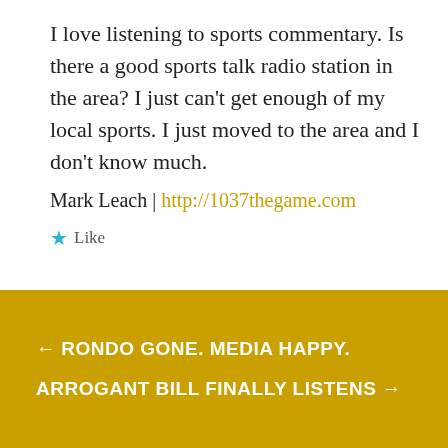I love listening to sports commentary. Is there a good sports talk radio station in the area? I just can't get enough of my local sports. I just moved to the area and I don't know much.
Mark Leach | http://1037thegame.com
★ Like
Comments are closed.
← RONDO GONE. MEDIA HAPPY.    ARROGANT BILL FINALLY LISTENS →